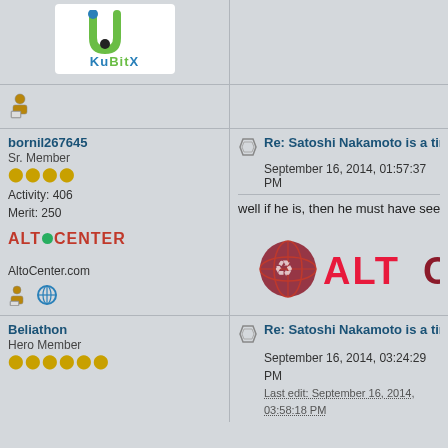[Figure (logo): KuBitX logo - green U shape with blue dot and black dot, text KuBitX below in blue and green]
[Figure (illustration): User/member icon (person with screen)]
bornil267645
Sr. Member
Activity: 406
Merit: 250
Re: Satoshi Nakamoto is a time trav
September 16, 2014, 01:57:37 PM
well if he is, then he must have seen someth
[Figure (logo): AltCenter logo text in red with green dot replacing O]
AltoCenter.com
[Figure (logo): Large AltCenter logo with stylized globe icon in red/maroon]
Beliathon
Hero Member
Re: Satoshi Nakamoto is a time trav
September 16, 2014, 03:24:29 PM
Last edit: September 16, 2014, 03:58:18 PM